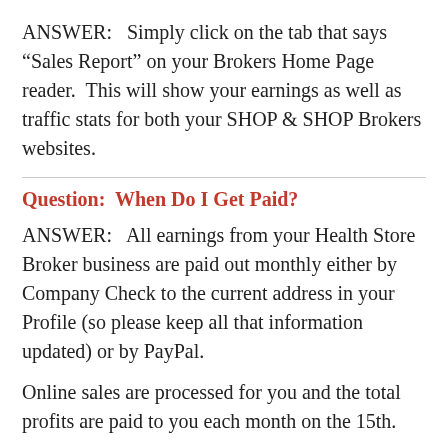ANSWER:   Simply click on the tab that says “Sales Report” on your Brokers Home Page reader.  This will show your earnings as well as traffic stats for both your SHOP & SHOP Brokers websites.
Question:  When Do I Get Paid?
ANSWER:   All earnings from your Health Store Broker business are paid out monthly either by Company Check to the current address in your Profile (so please keep all that information updated) or by PayPal.
Online sales are processed for you and the total profits are paid to you each month on the 15th.